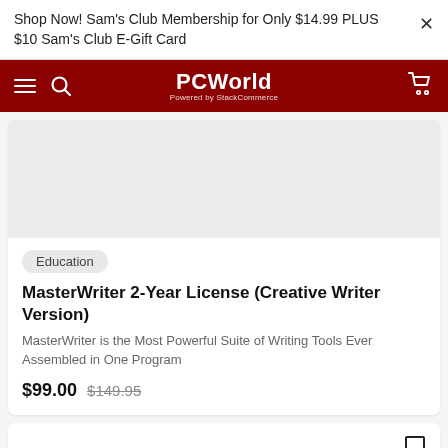Shop Now! Sam's Club Membership for Only $14.99 PLUS $10 Sam's Club E-Gift Card
[Figure (screenshot): PCWorld navigation bar with hamburger menu, search icon, PCWorld logo (Powered by StackCommerce), and cart icon on dark red background]
[Figure (other): Product image area (gray placeholder)]
Education
MasterWriter 2-Year License (Creative Writer Version)
MasterWriter is the Most Powerful Suite of Writing Tools Ever Assembled in One Program
$99.00 $149.95
[Figure (other): Partial bottom card with bookmark icon]